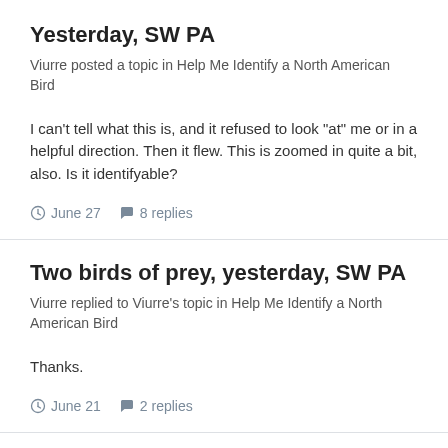Yesterday, SW PA
Viurre posted a topic in Help Me Identify a North American Bird
I can't tell what this is, and it refused to look "at" me or in a helpful direction. Then it flew. This is zoomed in quite a bit, also. Is it identifyable?
June 27   8 replies
Two birds of prey, yesterday, SW PA
Viurre replied to Viurre's topic in Help Me Identify a North American Bird
Thanks.
June 21   2 replies
Two birds of prey, yesterday, SW PA